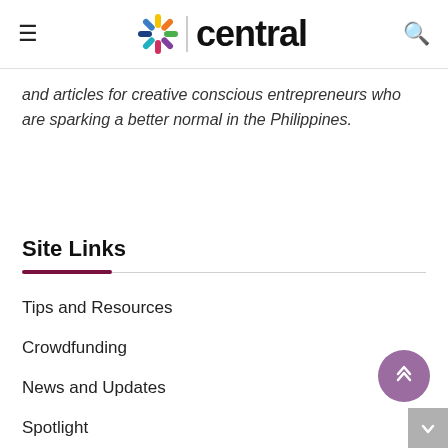central
and articles for creative conscious entrepreneurs who are sparking a better normal in the Philippines.
Site Links
Tips and Resources
Crowdfunding
News and Updates
Spotlight